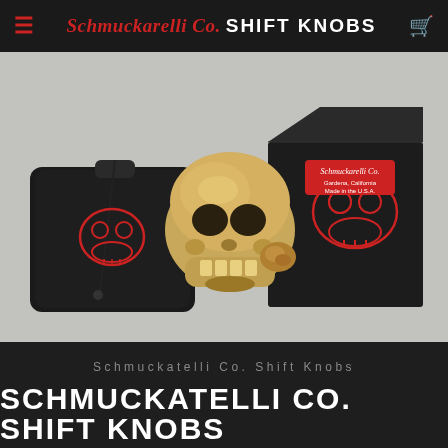≡  Schmuckarelli Co. SHIFT KNOBS  🛒
[Figure (photo): Product photo of a bronze skull shift knob in the center, with a black drawstring bag with red skull logo on the left, and a black box with red skull outline and Schmuckarelli Co. branding on the right, all on a light gray surface.]
Schmuckatelli Co. Shift Knobs
SCHMUCKATELLI CO. SHIFT KNOBS